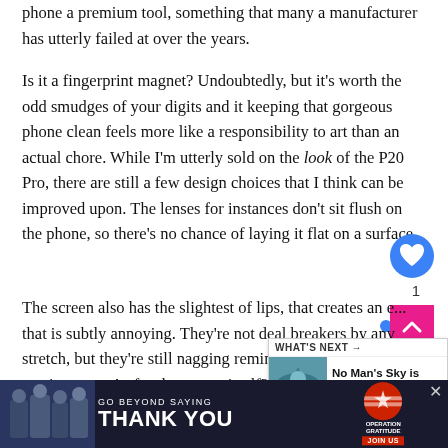phone a premium tool, something that many a manufacturer has utterly failed at over the years.
Is it a fingerprint magnet? Undoubtedly, but it's worth the odd smudges of your digits and it keeping that gorgeous phone clean feels more like a responsibility to art than an actual chore. While I'm utterly sold on the look of the P20 Pro, there are still a few design choices that I think can be improved upon. The lenses for instances don't sit flush on the phone, so there's no chance of laying it flat on a surface.
The screen also has the slightest of lips, that creates an e... that is subtly annoying. They're not deal breakers by any stretch, but they're still nagging reminders of ar... P20 Pro can improve. As for the screen itself? It... beast. With 6.1 inches of real estate upon which to scroll, re... 's blas... yo... te upo...
[Figure (other): Blue circular heart/like button with white heart icon, showing count of 1 below it]
[Figure (other): Pink/magenta scroll-to-top button with upward chevron icon, with blue dot indicator beside it]
[Figure (other): What's Next widget showing 'No Man's Sky is getting a ...' with thumbnail image]
[Figure (other): Advertisement banner: GO BEYOND SAYING THANK YOU - Operation Gratitude JOIN US]